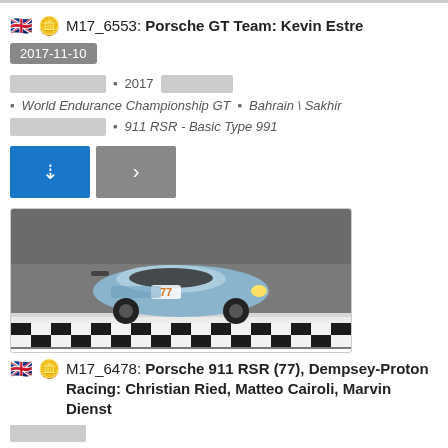M17_6553: Porsche GT Team: Kevin Estre
2017-11-10
2017
World Endurance Championship GT
Bahrain \ Sakhir
911 RSR - Basic Type 991
[Figure (photo): Porsche 911 RSR (77) race car with blue/silver livery on track at Bahrain, Dempsey-Proton Racing]
M17_6478: Porsche 911 RSR (77), Dempsey-Proton Racing: Christian Ried, Matteo Cairoli, Marvin Dienst